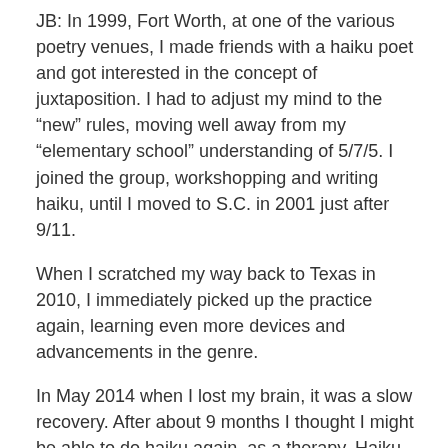JB: In 1999, Fort Worth, at one of the various poetry venues, I made friends with a haiku poet and got interested in the concept of juxtaposition. I had to adjust my mind to the “new” rules, moving well away from my “elementary school” understanding of 5/7/5. I joined the group, workshopping and writing haiku, until I moved to S.C. in 2001 just after 9/11.
When I scratched my way back to Texas in 2010, I immediately picked up the practice again, learning even more devices and advancements in the genre.
In May 2014 when I lost my brain, it was a slow recovery. After about 9 months I thought I might be able to do haiku again, as a therapy. Haiku requires an equal balance of right and left brain activity.
After struggling alone, I joined The Haiku Foundation (online) for their haiku workshops. There I met the mentors, Alan Summers (Britain) and Marion Clarke (Northern Ireland), who